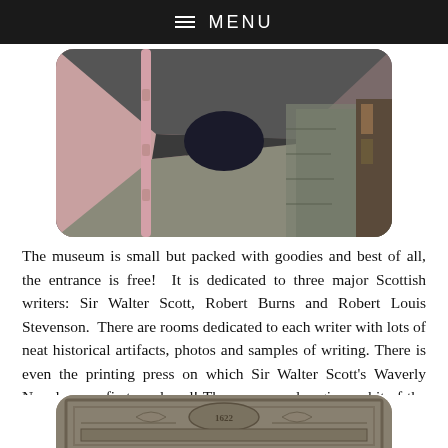≡ MENU
[Figure (photo): Interior corridor/passageway with pink walls, a vertical pipe on the left wall, stone wall visible on the right, dimly lit hallway receding into background]
The museum is small but packed with goodies and best of all, the entrance is free!  It is dedicated to three major Scottish writers: Sir Walter Scott, Robert Burns and Robert Louis Stevenson.  There are rooms dedicated to each writer with lots of neat historical artifacts, photos and samples of writing. There is even the printing press on which Sir Walter Scott's Waverly Novels were first produced! The museum also gives a bit of the history of the building which dates from 1622 and has been restored to much of it's original grandeur:
[Figure (photo): Close-up of ornate stone carved architectural detail, possibly a doorway or entrance lintel with decorative scrollwork and the date 1622 visible]